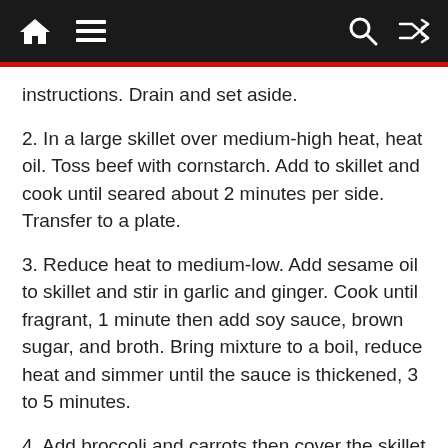Navigation bar with home, menu, search, and shuffle icons
instructions. Drain and set aside.
2. In a large skillet over medium-high heat, heat oil. Toss beef with cornstarch. Add to skillet and cook until seared about 2 minutes per side. Transfer to a plate.
3. Reduce heat to medium-low. Add sesame oil to skillet and stir in garlic and ginger. Cook until fragrant, 1 minute then add soy sauce, brown sugar, and broth. Bring mixture to a boil, reduce heat and simmer until the sauce is thickened, 3 to 5 minutes.
4. Add broccoli and carrots then cover the skillet with a tight-fitting lid and cook until the vegetables are tender, about 5 minutes.